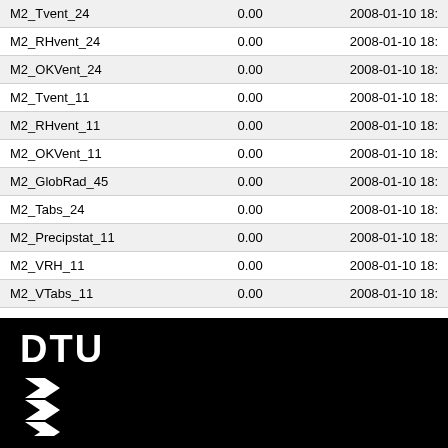| M2_Tvent_24 | 0.00 | 2008-01-10 18: |
| M2_RHvent_24 | 0.00 | 2008-01-10 18: |
| M2_OKVent_24 | 0.00 | 2008-01-10 18: |
| M2_Tvent_11 | 0.00 | 2008-01-10 18: |
| M2_RHvent_11 | 0.00 | 2008-01-10 18: |
| M2_OKVent_11 | 0.00 | 2008-01-10 18: |
| M2_GlobRad_45 | 0.00 | 2008-01-10 18: |
| M2_Tabs_24 | 0.00 | 2008-01-10 18: |
| M2_Precipstat_11 | 0.00 | 2008-01-10 18: |
| M2_VRH_11 | 0.00 | 2008-01-10 18: |
| M2_VTabs_11 | 0.00 | 2008-01-10 18: |
| DAU_STATUS | 0.00 | 2008-01-10 18: |
[Figure (logo): DTU (Technical University of Denmark) logo — white DTU text and three wave/chevron symbols on black background]